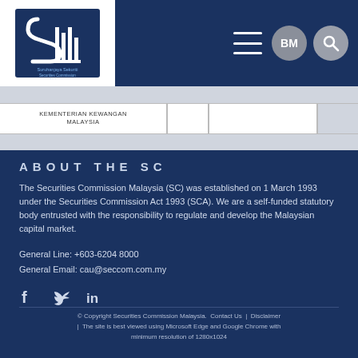[Figure (logo): Suruhanjaya Sekuriti Securities Commission Malaysia logo — blue S-shaped mark with building icon]
KEMENTERIAN KEWANGAN MALAYSIA
ABOUT THE SC
The Securities Commission Malaysia (SC) was established on 1 March 1993 under the Securities Commission Act 1993 (SCA). We are a self-funded statutory body entrusted with the responsibility to regulate and develop the Malaysian capital market.
General Line: +603-6204 8000
General Email: cau@seccom.com.my
[Figure (infographic): Social media icons: Facebook, Twitter, LinkedIn]
© Copyright Securities Commission Malaysia.  Contact Us  |  Disclaimer  |  The site is best viewed using Microsoft Edge and Google Chrome with minimum resolution of 1280x1024